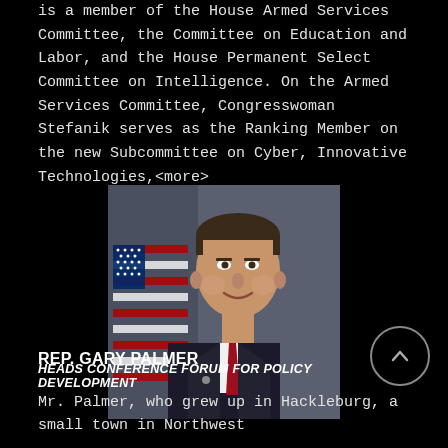is a member of the House Armed Services Committee, the Committee on Education and Labor, and the House Permanent Select Committee on Intelligence. On the Armed Services Committee, Congresswoman Stefanik serves as the Ranking Member on the new Subcommittee on Cyber, Innovative Technologies,<more>
[Figure (photo): Official congressional portrait photo of Rep. Gary Palmer, a middle-aged man in a dark suit with a red tie, American flag in the background]
REP. GARY PALMER
HEADS CONFERENCE FORUM FOR POLICY DEVELOPMENT
Mr. Palmer, who grew up in Hackleburg, a small town in Northwest